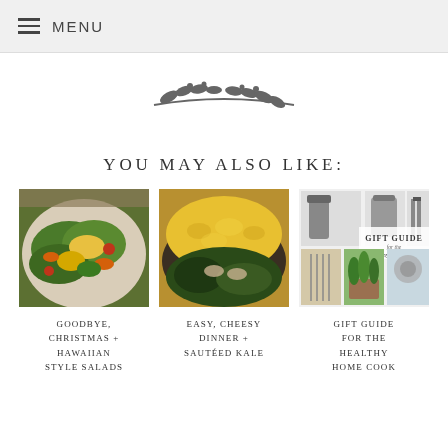≡ MENU
[Figure (illustration): Decorative botanical branch divider illustration]
YOU MAY ALSO LIKE:
[Figure (photo): A colorful Hawaiian-style salad with greens, mango, avocado, carrots, and tomatoes on a plate]
[Figure (photo): A plate with cheesy pasta and sautéed kale]
[Figure (photo): Gift guide for the healthy home cook - collage of kitchen tools and appliances]
GOODBYE, CHRISTMAS + HAWAIIAN STYLE SALADS
EASY, CHEESY DINNER + SAUTÉED KALE
GIFT GUIDE FOR THE HEALTHY HOME COOK